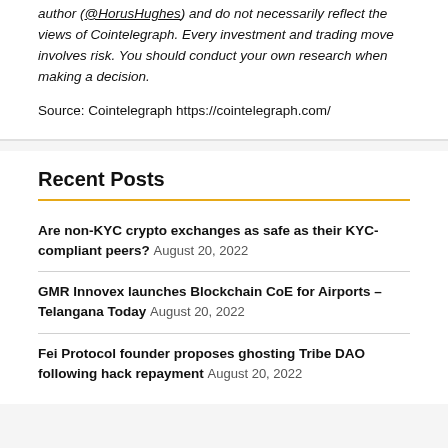author (@HorusHughes) and do not necessarily reflect the views of Cointelegraph. Every investment and trading move involves risk. You should conduct your own research when making a decision.
Source: Cointelegraph https://cointelegraph.com/
Recent Posts
Are non-KYC crypto exchanges as safe as their KYC-compliant peers? August 20, 2022
GMR Innovex launches Blockchain CoE for Airports – Telangana Today August 20, 2022
Fei Protocol founder proposes ghosting Tribe DAO following hack repayment August 20, 2022